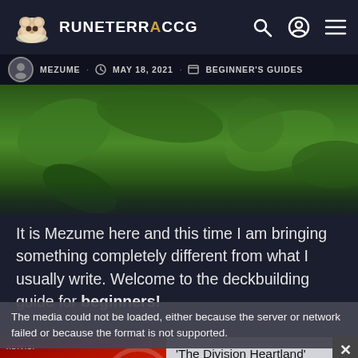RUNETERRACCG
MEZUME · MAY 18, 2021 · BEGINNER'S GUIDES
[Figure (photo): Hero image with green foliage/gaming background, partially visible]
It is Mezume here and this time I am bringing something completely different from what I usually write. Welcome to the deckbuilding guide for beginners!
[Figure (other): Media error overlay with embedded video player showing: 'The media could not be loaded, either because the server or network failed or because the format is not supported.' alongside a Division Heartland game image and article card reading "'The Division Heartland' appears on Ubisoft store before being taken..."]
Anyway, if you've always wanted to build decks, but did not know where and how to start or how to finish...